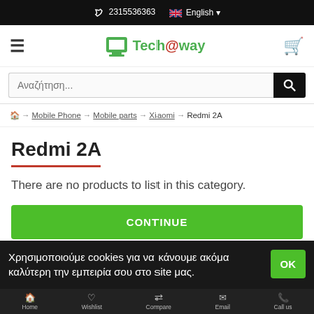2315536363  English
[Figure (logo): Tech@way logo with green laptop icon and green text]
Αναζήτηση...
Home → Mobile Phone → Mobile parts → Xiaomi → Redmi 2A
Redmi 2A
There are no products to list in this category.
CONTINUE
Χρησιμοποιούμε cookies για να κάνουμε ακόμα καλύτερη την εμπειρία σου στο site μας.
Home  Wishlist  Compare  Email  Call us